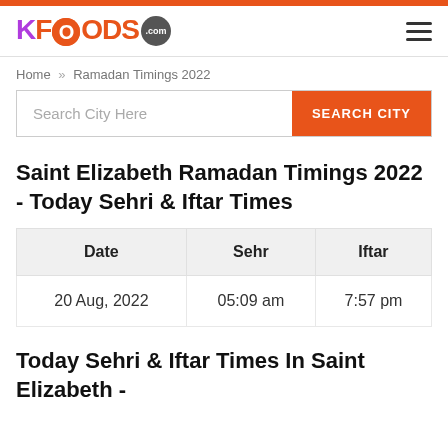KFOODS.com
Home » Ramadan Timings 2022
Saint Elizabeth Ramadan Timings 2022 - Today Sehri & Iftar Times
| Date | Sehr | Iftar |
| --- | --- | --- |
| 20 Aug, 2022 | 05:09 am | 7:57 pm |
Today Sehri & Iftar Times In Saint Elizabeth -